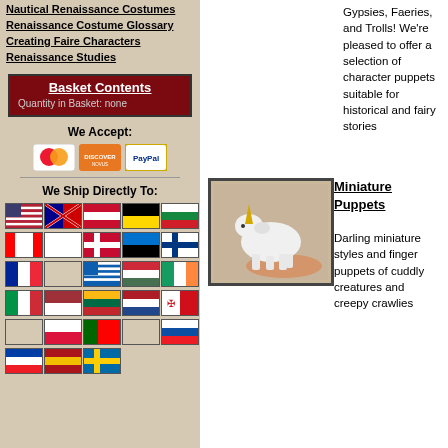Nautical Renaissance Costumes
Renaissance Costume Glossary
Creating Faire Characters
Renaissance Studies
Basket Contents
Quantity in Basket: none
We Accept:
[Figure (other): MasterCard, Discover/Novus, and PayPal payment icons]
We Ship Directly To:
[Figure (other): Grid of country flags for shipping destinations including USA, Australia, Austria, Belgium, Bulgaria, Canada, Cyprus, Denmark, Estonia, Finland, France, Greece, Hungary, Ireland, Italy, Latvia, Lithuania, Netherlands, Malta, Poland, Portugal, Slovakia, Slovenia, Spain, Sweden]
Gypsies, Faeries, and Trolls! We're pleased to offer a selection of character puppets suitable for historical and fairy stories
[Figure (photo): A white unicorn puppet/figurine being held on a hand against a beige background]
Miniature Puppets
Darling miniature styles and finger puppets of cuddly creatures and creepy crawlies